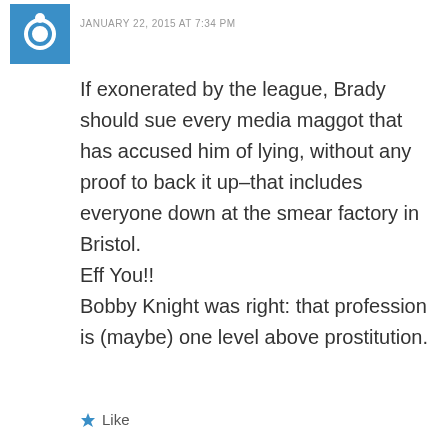JANUARY 22, 2015 AT 7:34 PM
If exonerated by the league, Brady should sue every media maggot that has accused him of lying, without any proof to back it up–that includes everyone down at the smear factory in Bristol.
Eff You!!
Bobby Knight was right: that profession is (maybe) one level above prostitution.
Like